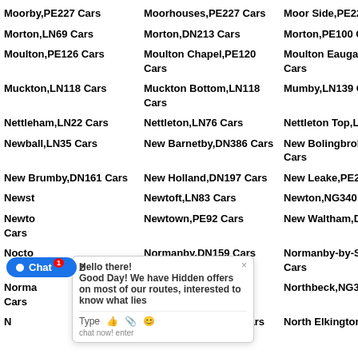Moorby,PE227 Cars
Moorhouses,PE227 Cars
Moor Side,PE227 Cars
Morton,LN69 Cars
Morton,DN213 Cars
Morton,PE100 Cars
Moulton,PE126 Cars
Moulton Chapel,PE120 Cars
Moulton Eaugate,PE120 Cars
Muckton,LN118 Cars
Muckton Bottom,LN118 Cars
Mumby,LN139 Cars
Nettleham,LN22 Cars
Nettleton,LN76 Cars
Nettleton Top,LN76 Cars
Newball,LN35 Cars
New Barnetby,DN386 Cars
New Bolingbroke,PE227 Cars
New Brumby,DN161 Cars
New Holland,DN197 Cars
New Leake,PE228 Cars
Newstead,LN83 Cars
Newtoft,LN83 Cars
Newton,NG340 Cars
Newton-on-Trent,LN12 Cars
Newtown,PE92 Cars
New Waltham,DN364 Cars
Nocton,LN42 Cars
Normanby,DN159 Cars
Normanby-by-Spital,LN83 Cars
Normanby-on-Wold,LN76 Cars
Normanton-on-Cliffe,NG323 Cars
Northbeck,NG340 Cars
North Cotes,DN365 Cars
North Elkington,LN110 Cars